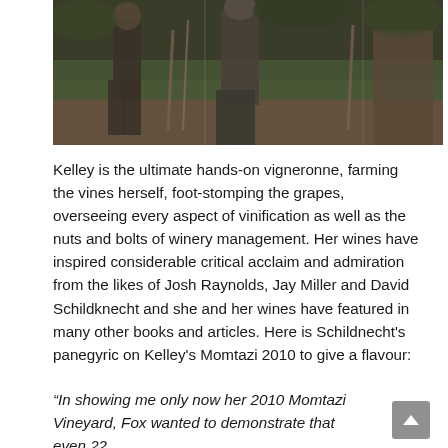[Figure (photo): A person standing in a vineyard among old vines, outdoors, with green and brown vegetation visible. Another figure is partially visible on the right side.]
Kelley is the ultimate hands-on vigneronne, farming the vines herself, foot-stomping the grapes, overseeing every aspect of vinification as well as the nuts and bolts of winery management. Her wines have inspired considerable critical acclaim and admiration from the likes of Josh Raynolds, Jay Miller and David Schildknecht and she and her wines have featured in many other books and articles. Here is Schildnecht's panegyric on Kelley's Momtazi 2010 to give a flavour:
“In showing me only now her 2010 Momtazi Vineyard, Fox wanted to demonstrate that even 22